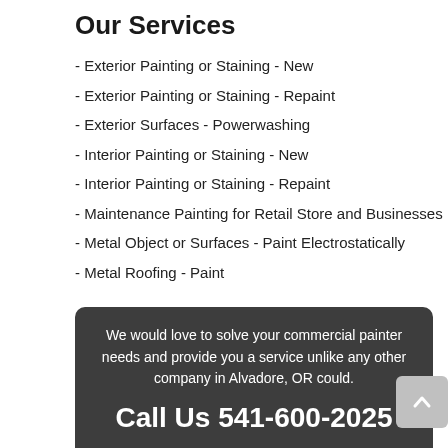Our Services
- Exterior Painting or Staining - New
- Exterior Painting or Staining - Repaint
- Exterior Surfaces - Powerwashing
- Interior Painting or Staining - New
- Interior Painting or Staining - Repaint
- Maintenance Painting for Retail Store and Businesses
- Metal Object or Surfaces - Paint Electrostatically
- Metal Roofing - Paint
We would love to solve your commercial painter needs and provide you a service unlike any other company in Alvadore, OR could.
Call Us 541-600-2025